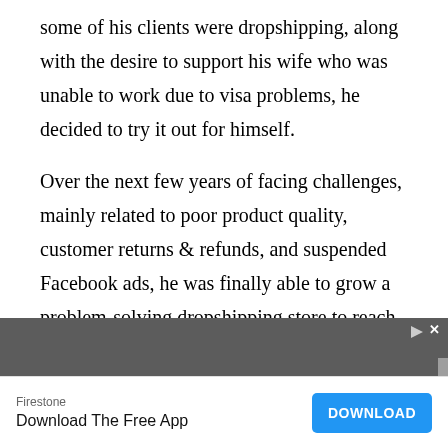some of his clients were dropshipping, along with the desire to support his wife who was unable to work due to visa problems, he decided to try it out for himself.
Over the next few years of facing challenges, mainly related to poor product quality, customer returns & refunds, and suspended Facebook ads, he was finally able to grow a problem-solving dropshipping store to reach $1.6 million in revenue.
[Figure (other): Advertisement banner - Firestone: Download The Free App with a DOWNLOAD button]